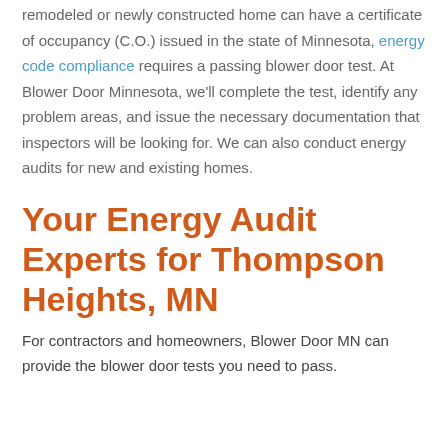remodeled or newly constructed home can have a certificate of occupancy (C.O.) issued in the state of Minnesota, energy code compliance requires a passing blower door test. At Blower Door Minnesota, we'll complete the test, identify any problem areas, and issue the necessary documentation that inspectors will be looking for. We can also conduct energy audits for new and existing homes.
Your Energy Audit Experts for Thompson Heights, MN
For contractors and homeowners, Blower Door MN can provide the blower door tests you need to pass.